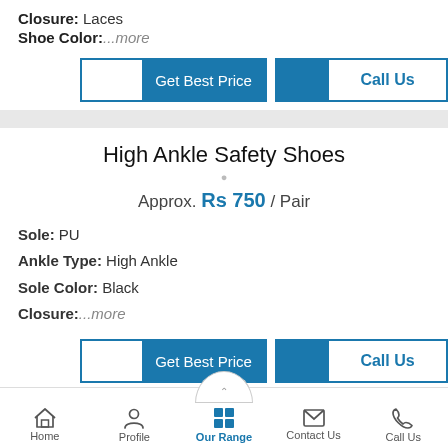Closure: Laces
Shoe Color: ...more
[Figure (screenshot): Get Best Price and Call Us buttons (top)]
High Ankle Safety Shoes
Approx. Rs 750 / Pair
Sole: PU
Ankle Type: High Ankle
Sole Color: Black
Closure: ...more
[Figure (screenshot): Get Best Price and Call Us buttons (bottom)]
Home | Profile | Our Range | Contact Us | Call Us